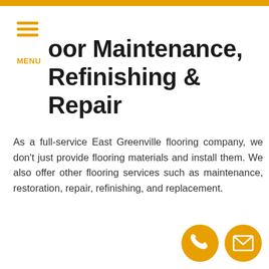MENU
oor Maintenance, Refinishing & Repair
As a full-service East Greenville flooring company, we don't just provide flooring materials and install them. We also offer other flooring services such as maintenance, restoration, repair, refinishing, and replacement.
[Figure (infographic): Phone call button icon (orange circle with handset symbol) and email button icon (orange circle with envelope symbol) in the bottom right corner.]